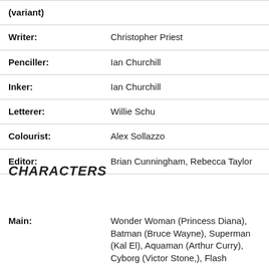| (variant) |  |
| Writer: | Christopher Priest |
| Penciller: | Ian Churchill |
| Inker: | Ian Churchill |
| Letterer: | Willie Schu |
| Colourist: | Alex Sollazzo |
| Editor: | Brian Cunningham, Rebecca Taylor |
CHARACTERS
| Main: | Wonder Woman (Princess Diana), Batman (Bruce Wayne), Superman (Kal El), Aquaman (Arthur Curry), Cyborg (Victor Stone,), Flash |